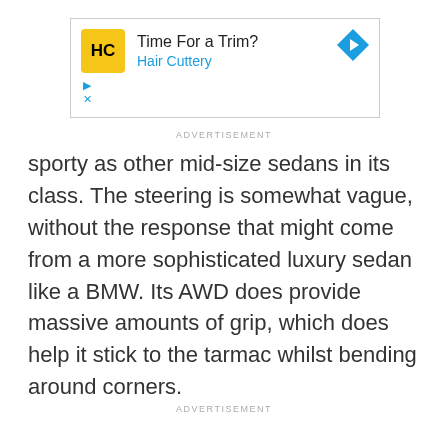[Figure (other): Hair Cuttery advertisement banner with yellow HC logo, title 'Time For a Trim?', subtitle 'Hair Cuttery', blue arrow icon on right, play and close icons on lower left]
ADVERTISEMENT
sporty as other mid-size sedans in its class. The steering is somewhat vague, without the response that might come from a more sophisticated luxury sedan like a BMW. Its AWD does provide massive amounts of grip, which does help it stick to the tarmac whilst bending around corners.
ADVERTISEMENT